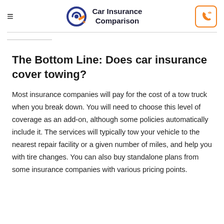Car Insurance Comparison
The Bottom Line: Does car insurance cover towing?
Most insurance companies will pay for the cost of a tow truck when you break down. You will need to choose this level of coverage as an add-on, although some policies automatically include it. The services will typically tow your vehicle to the nearest repair facility or a given number of miles, and help you with tire changes. You can also buy standalone plans from some insurance companies with various pricing points.